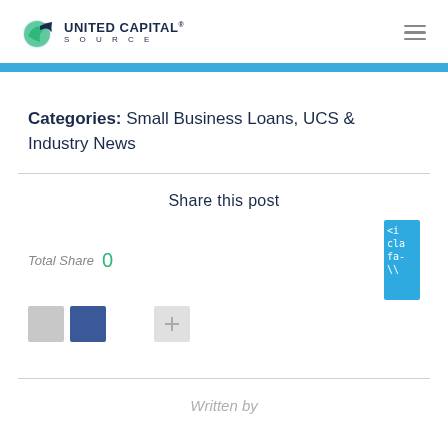United Capital Source
Categories: Small Business Loans, UCS & Industry News
Share this post
Total Share 0
Written by